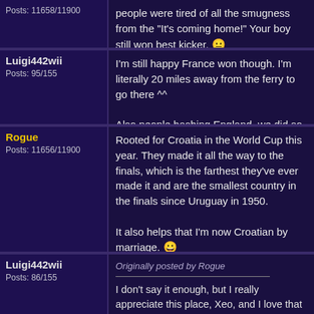Posts: 11658/11900
people were tired of all the smugness from the "It's coming home!" Your boy still won best kicker. 😐
Luigi442wii
Posts: 95/155
I'm still happy France won though. I'm literally 20 miles away from the ferry to go there ^^

Also people bashing England, we did so well and can do even better as we had a young squad^^
Rogue
Posts: 11656/11900
Rooted for Croatia in the World Cup this year. They made it all the way to the finals, which is the farthest they've ever made it and are the smallest country in the finals since Uruguay in 1950.

It also helps that I'm now Croatian by marriage. 😀
Luigi442wii
Posts: 86/155
Originally posted by Rogue

I don't say it enough, but I really appreciate this place, Xeo, and I love that you keep it around.

Whenever I have a problem or want to vent about something I just feel like social media's too public a place. There's too many people who know me personally that I don't want to see me upload...